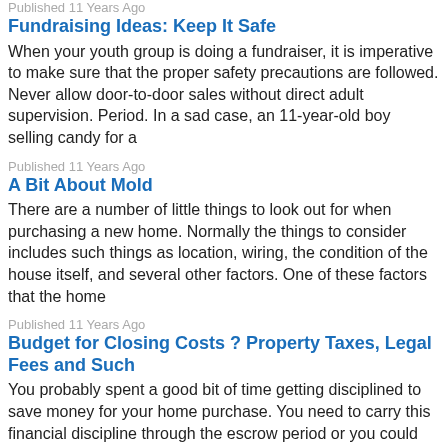Published 11 Years Ago
Fundraising Ideas: Keep It Safe
When your youth group is doing a fundraiser, it is imperative to make sure that the proper safety precautions are followed. Never allow door-to-door sales without direct adult supervision. Period. In a sad case, an 11-year-old boy selling candy for a
Published 11 Years Ago
A Bit About Mold
There are a number of little things to look out for when purchasing a new home. Normally the things to consider includes such things as location, wiring, the condition of the house itself, and several other factors. One of these factors that the home
Published 11 Years Ago
Budget for Closing Costs ? Property Taxes, Legal Fees and Such
You probably spent a good bit of time getting disciplined to save money for your home purchase. You need to carry this financial discipline through the escrow period or you could run into problems. Budget for Closing Costs ? Property Taxes, Legal Fees
Published 11 Years Ago
Four Tips to Sell Your House For Top Dollar